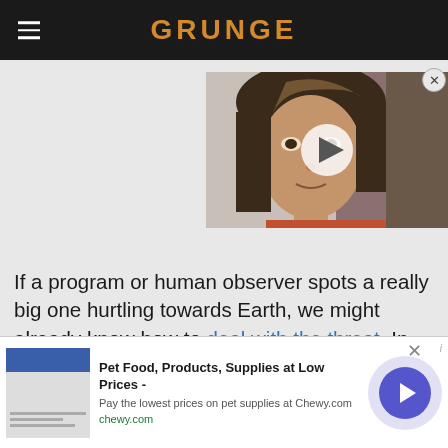GRUNGE
[Figure (photo): Video thumbnail showing a woman's face with dark hair, with a play button overlay]
If a program or human observer spots a really big one hurtling towards Earth, we might already know how to deal with the threat. In 2021, NASA launched its Double
[Figure (other): Advertisement banner: Pet Food, Products, Supplies at Low Prices - Pay the lowest prices on pet supplies at Chewy.com | chewy.com]